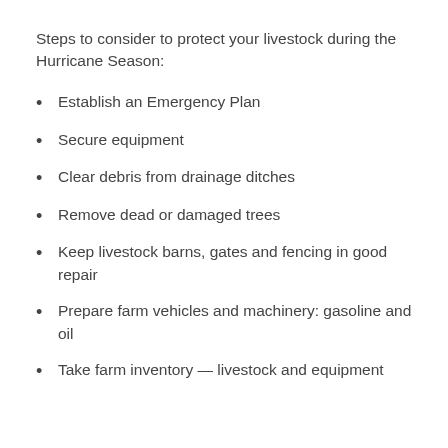Steps to consider to protect your livestock during the Hurricane Season:
Establish an Emergency Plan
Secure equipment
Clear debris from drainage ditches
Remove dead or damaged trees
Keep livestock barns, gates and fencing in good repair
Prepare farm vehicles and machinery: gasoline and oil
Take farm inventory — livestock and equipment